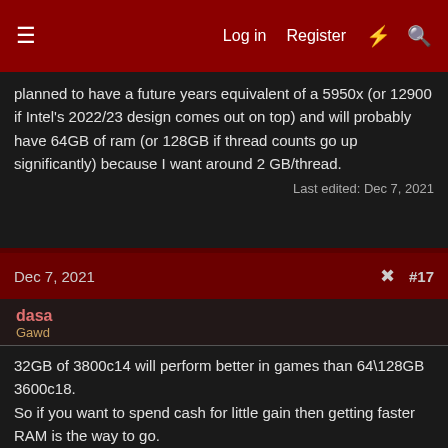≡  Log in  Register  ⚡  🔍
planned to have a future years equivalent of a 5950x (or 12900 if Intel's 2022/23 design comes out on top) and will probably have 64GB of ram (or 128GB if thread counts go up significantly) because I want around 2 GB/thread.
Last edited: Dec 7, 2021
Dec 7, 2021  #17
dasa
Gawd
32GB of 3800c14 will perform better in games than 64\128GB 3600c18.
So if you want to spend cash for little gain then getting faster RAM is the way to go.
If you tweak a 3800c14 kit you could boost CPU performance by around 20% in some CPU bottlnecked sections of gameplay.
Then tweak your curves and add a little to the max boost and